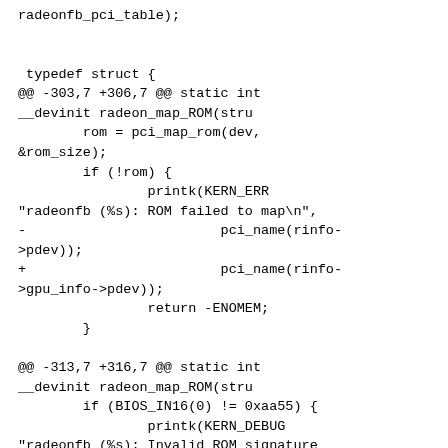radeonfb_pci_table);


 typedef struct {
@@ -303,7 +306,7 @@ static int __devinit radeon_map_ROM(stru
        rom = pci_map_rom(dev, &rom_size);
        if (!rom) {
                printk(KERN_ERR
"radeonfb (%s): ROM failed to map\n",
-                        pci_name(rinfo->pdev));
+                        pci_name(rinfo->gpu_info->pdev));
                return -ENOMEM;
        }

@@ -313,7 +316,7 @@ static int __devinit radeon_map_ROM(stru
        if (BIOS_IN16(0) != 0xaa55) {
                printk(KERN_DEBUG
"radeonfb (%s): Invalid ROM signature %x "
                        "should be 0xaa55\n",
-                        pci_name(rinfo->pdev), BIOS_IN16(0));
+                        pci_name(rinfo->gpu_info->pdev), BIOS_IN16(0));